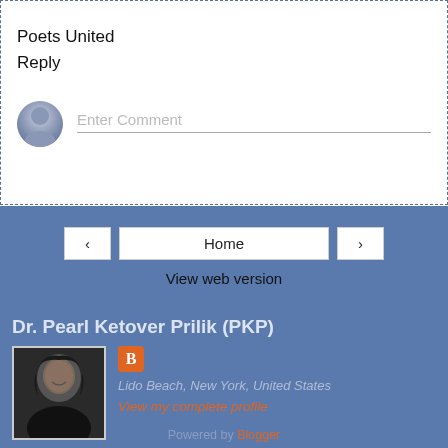Poets United
Reply
Enter Comment
Home
View web version
Dr. Pearl Ketover Prilik (PKP)
Lido Beach, New York, United States
View my complete profile
Powered by Blogger